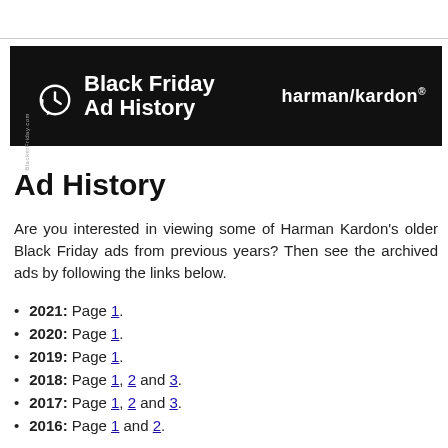[Figure (infographic): Black Friday Ad History banner with harman/kardon brand on a black background, with a clock/history icon and vertical 'BlackerFriday.com' text on the left side.]
Ad History
Are you interested in viewing some of Harman Kardon’s older Black Friday ads from previous years? Then see the archived ads by following the links below.
2021: Page 1.
2020: Page 1.
2019: Page 1.
2018: Page 1, 2 and 3.
2017: Page 1, 2 and 3.
2016: Page 1 and 2.